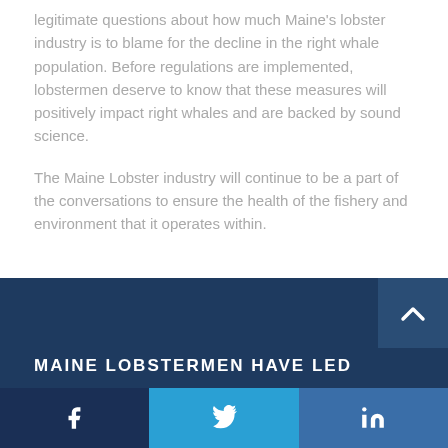legitimate questions about how much Maine's lobster industry is to blame for the decline in the right whale population. Before regulations are implemented, lobstermen deserve to know that these measures will positively impact right whales and are backed by sound science.
The Maine Lobster industry will continue to be a part of the conversations to ensure the health of the fishery and environment that it operates within.
MAINE LOBSTERMEN HAVE LED
Facebook Twitter LinkedIn